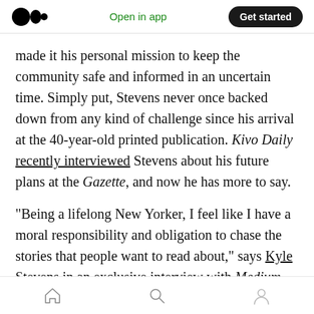Medium app navigation bar with logo, Open in app link, and Get started button
made it his personal mission to keep the community safe and informed in an uncertain time. Simply put, Stevens never once backed down from any kind of challenge since his arrival at the 40-year-old printed publication. Kivo Daily recently interviewed Stevens about his future plans at the Gazette, and now he has more to say.
“Being a lifelong New Yorker, I feel like I have a moral responsibility and obligation to chase the stories that people want to read about,” says Kyle Stevens in an exclusive interview with Medium.
Bottom navigation bar with home, search, and profile icons